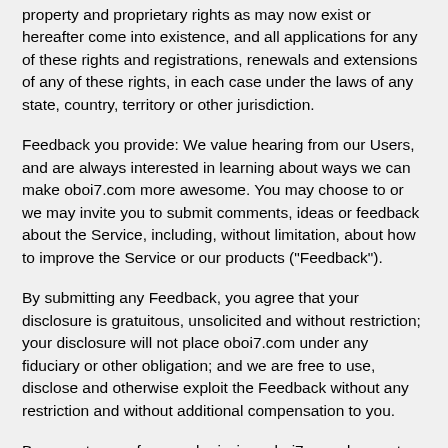property and proprietary rights as may now exist or hereafter come into existence, and all applications for any of these rights and registrations, renewals and extensions of any of these rights, in each case under the laws of any state, country, territory or other jurisdiction.
Feedback you provide: We value hearing from our Users, and are always interested in learning about ways we can make oboi7.com more awesome. You may choose to or we may invite you to submit comments, ideas or feedback about the Service, including, without limitation, about how to improve the Service or our products ("Feedback").
By submitting any Feedback, you agree that your disclosure is gratuitous, unsolicited and without restriction; your disclosure will not place oboi7.com under any fiduciary or other obligation; and we are free to use, disclose and otherwise exploit the Feedback without any restriction and without additional compensation to you.
By acceptance of your submission, oboi7.com does not waive any rights to use similar or related Feedback previously known to oboi7.com, or developed by its employees, or obtained from sources other than you.